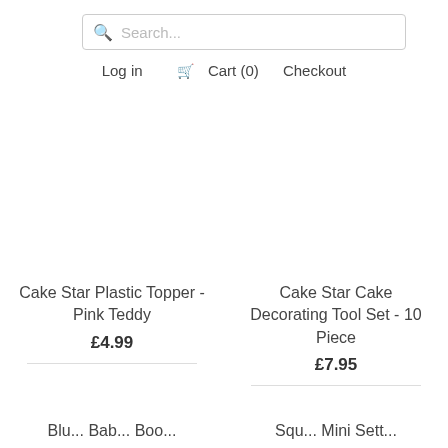Search...
Log in   Cart (0)   Checkout
Cake Star Plastic Topper - Pink Teddy
£4.99
Cake Star Cake Decorating Tool Set - 10 Piece
£7.95
Blu... Bab... Boo...
Squ... Mini Sett...